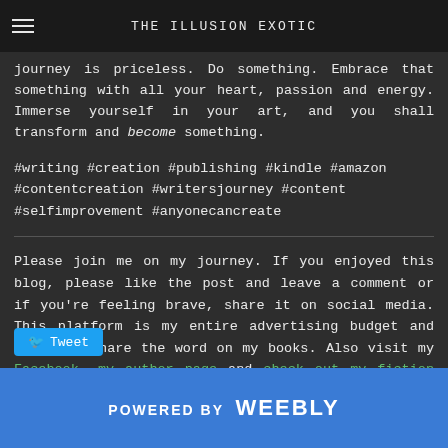THE ILLUSION EXOTIC
journey is priceless. Do something. Embrace that something with all your heart, passion and energy. Immerse yourself in your art, and you shall transform and become something.
#writing #creation #publishing #kindle #amazon #contentcreation #writersjourney #content #selfimprovement #anyonecancreate
Please join me on my journey. If you enjoyed this blog, please like the post and leave a comment or if you're feeling brave, share it on social media. This platform is my entire advertising budget and is how I share the word on my books. Also visit my Facebook, my author page and check out my fiction books here book here.
POWERED BY weebly